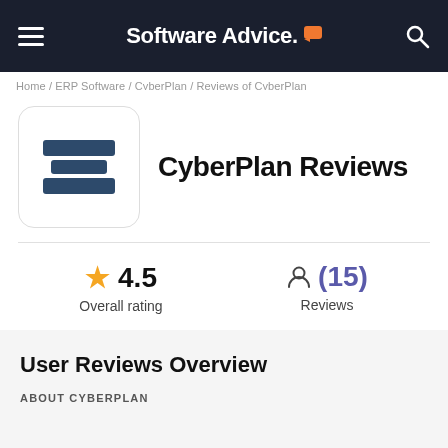Software Advice
Home / ERP Software / CyberPlan / Reviews of CyberPlan
CyberPlan Reviews
★ 4.5  Overall rating
(15)  Reviews
Learn More
User Reviews Overview
ABOUT CYBERPLAN